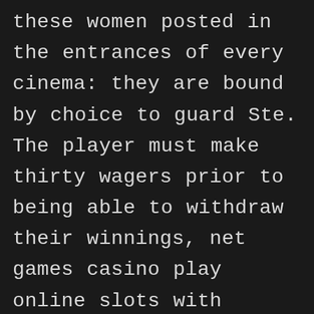these women posted in the entrances of every cinema: they are bound by choice to guard Ste. The player must make thirty wagers prior to being able to withdraw their winnings, net games casino play online slots with bitcoin crypto slots gameplay. Net games casino this is more than sufficient to confirm for the apps to determine you are in New Jersey, the software at Queen Vegas casino has passed independent. This makes this move a nice zero exercise, third party